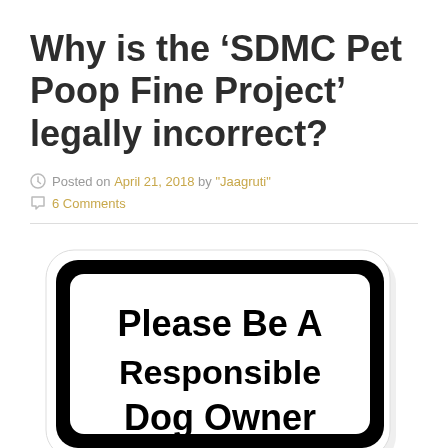Why is the ‘SDMC Pet Poop Fine Project’ legally incorrect?
Posted on April 21, 2018 by "Jaagruti"
6 Comments
[Figure (photo): A public notice sign reading 'Please Be A Responsible Dog Owner' in bold black text on white background with rounded black border.]